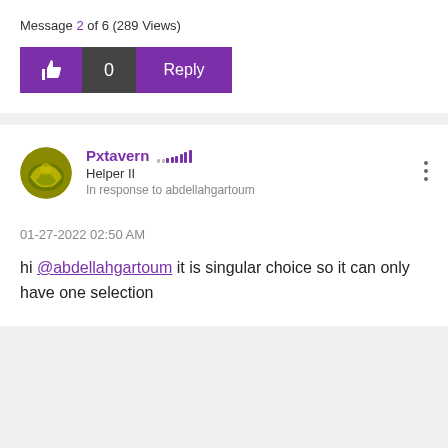Message 2 of 6 (289 Views)
[Figure (screenshot): Action bar with like button (thumbs up icon), count showing 0, and Reply button, all in purple/dark color scheme]
[Figure (illustration): User avatar circle with yellow-green nature/leaf design]
Pxtavern   Helper II  In response to abdellahgartoum
01-27-2022 02:50 AM
hi @abdellahgartoum it is singular choice so it can only have one selection